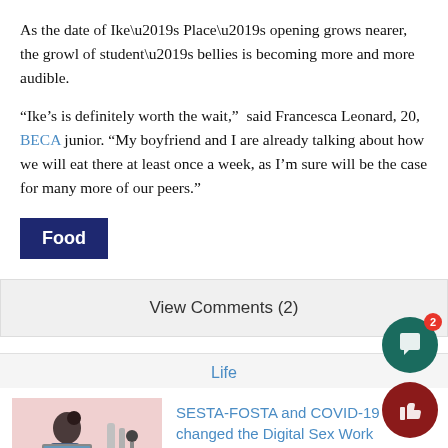As the date of Ike’s Place’s opening grows nearer, the growl of student’s bellies is becoming more and more audible.
“Ike’s is definitely worth the wait,”  said Francesca Leonard, 20, BECA junior. “My boyfriend and I are already talking about how we will eat there at least once a week, as I’m sure will be the case for many more of our peers.”
Food
View Comments (2)
Life
SESTA-FOSTA and COVID-19 changed the Digital Sex Work Landscape
[Figure (illustration): Illustration of a person working on a laptop with various items around them on a pink background]